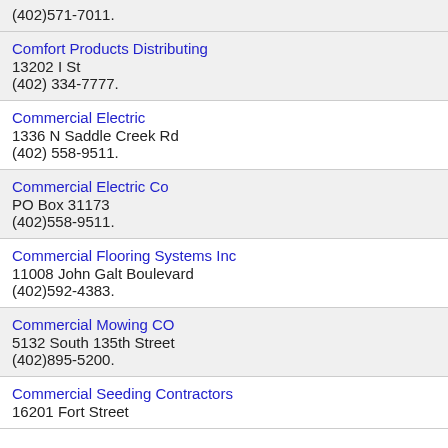(402)571-7011.
Comfort Products Distributing
13202 I St
(402) 334-7777.
Commercial Electric
1336 N Saddle Creek Rd
(402) 558-9511.
Commercial Electric Co
PO Box 31173
(402)558-9511.
Commercial Flooring Systems Inc
11008 John Galt Boulevard
(402)592-4383.
Commercial Mowing CO
5132 South 135th Street
(402)895-5200.
Commercial Seeding Contractors
16201 Fort Street